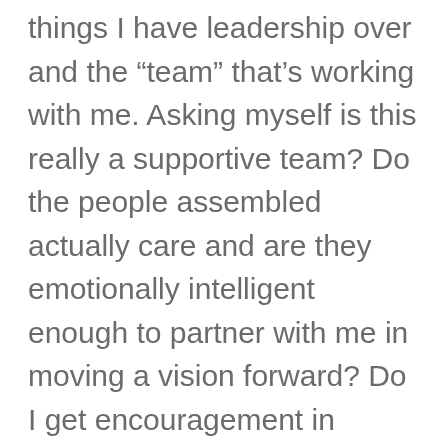things I have leadership over and the “team” that’s working with me. Asking myself is this really a supportive team? Do the people assembled actually care and are they emotionally intelligent enough to partner with me in moving a vision forward? Do I get encouragement in return for the constant encouragement, hope and vision I give out? These are always end of year questions I have to ask myself before entering into a new year.
See, vision can be overwhelming. Ask any visionary and they’ll tell you,